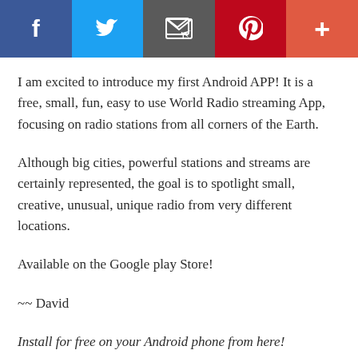Social share toolbar with Facebook, Twitter, Email, Pinterest, More buttons
I am excited to introduce my first Android APP! It is a free, small, fun, easy to use World Radio streaming App, focusing on radio stations from all corners of the Earth.
Although big cities, powerful stations and streams are certainly represented, the goal is to spotlight small, creative, unusual, unique radio from very different locations.
Available on the Google play Store!
~~ David
Install for free on your Android phone from here!
https://play.google.com/store/apps/details?